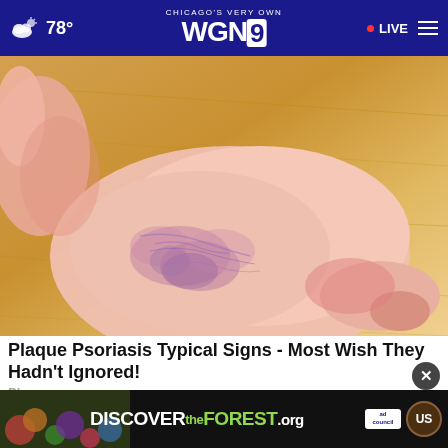CHICAGO'S VERY OWN WGN9 · 78° · LIVE
[Figure (photo): Close-up photo of a human foot/ankle showing reddish, inflamed, scaly skin consistent with plaque psoriasis, held against a wooden floor background]
Plaque Psoriasis Typical Signs - Most Wish They Hadn't Ignored!
Plaque...
[Figure (infographic): DISCOVERtheFOREST.org advertisement banner with Ad Council and US Forest Service logos]